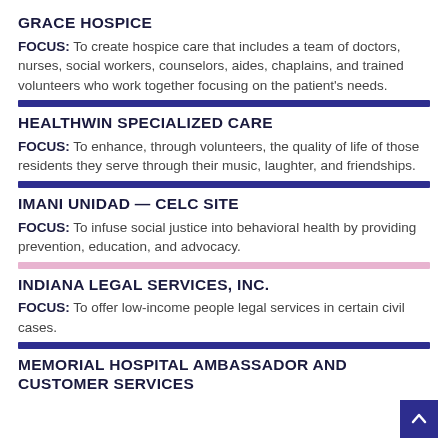GRACE HOSPICE
FOCUS: To create hospice care that includes a team of doctors, nurses, social workers, counselors, aides, chaplains, and trained volunteers who work together focusing on the patient's needs.
HEALTHWIN SPECIALIZED CARE
FOCUS: To enhance, through volunteers, the quality of life of those residents they serve through their music, laughter, and friendships.
IMANI UNIDAD — CELC SITE
FOCUS: To infuse social justice into behavioral health by providing prevention, education, and advocacy.
INDIANA LEGAL SERVICES, INC.
FOCUS: To offer low-income people legal services in certain civil cases.
MEMORIAL HOSPITAL AMBASSADOR AND CUSTOMER SERVICES